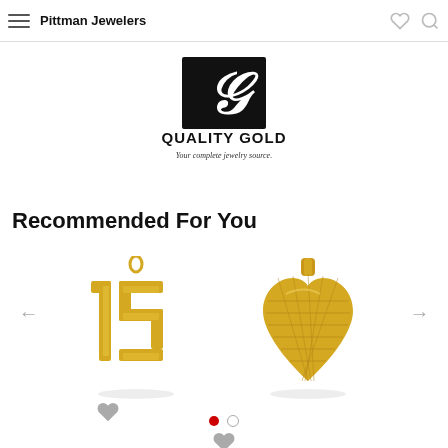Pittman Jewelers
[Figure (logo): Quality Gold logo with stylized G monogram and tagline 'Your complete jewelry source.']
Recommended For You
[Figure (photo): Gold number 15 charm pendant]
[Figure (photo): Gold diamond-cut heart pendant]